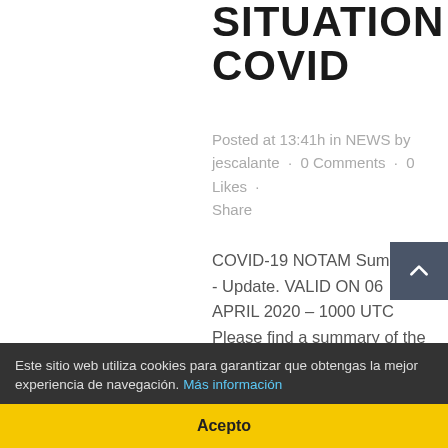SITUATION COVID
Posted at 13:41h in NEWS by jescalante · 0 Comments · 0 Likes · Share
COVID-19 NOTAM Summary - Update. VALID ON 06 APRIL 2020 – 1000 UTC Please find a summary of the most significant COVID-19 NOTAM  Pdf Major improvement - Validity of NOTAMs added It makes a distinction on NOTAMs content between restrictions on flights, passengers, airports and other requirements.This
Este sitio web utiliza cookies para garantizar que obtengas la mejor experiencia de navegación. Más información
Acepto